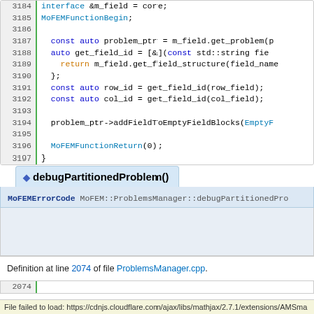[Figure (screenshot): Code block showing C++ source lines 3184-3197 with syntax highlighting. Line numbers in left gutter with green border. Keywords in blue/orange/cyan.]
◆ debugPartitionedProblem()
MoFEMErrorCode MoFEM::ProblemsManager::debugPartitionedPro...
Definition at line 2074 of file ProblemsManager.cpp.
[Figure (screenshot): Bottom code block showing line 2074 with green border line number gutter.]
File failed to load: https://cdnjs.cloudflare.com/ajax/libs/mathjax/2.7.1/extensions/AMSma...